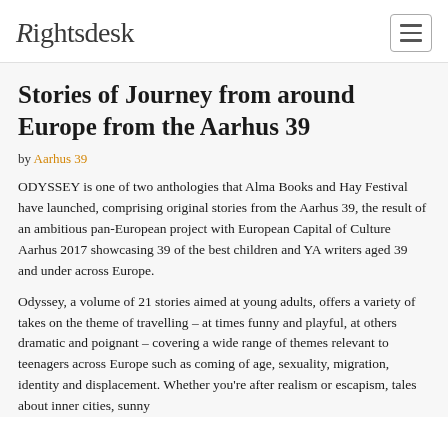Rightsdesk
Stories of Journey from around Europe from the Aarhus 39
by Aarhus 39
ODYSSEY is one of two anthologies that Alma Books and Hay Festival have launched, comprising original stories from the Aarhus 39, the result of an ambitious pan-European project with European Capital of Culture Aarhus 2017 showcasing 39 of the best children and YA writers aged 39 and under across Europe.
Odyssey, a volume of 21 stories aimed at young adults, offers a variety of takes on the theme of travelling – at times funny and playful, at others dramatic and poignant – covering a wide range of themes relevant to teenagers across Europe such as coming of age, sexuality, migration, identity and displacement. Whether you're after realism or escapism, tales about inner cities, sunny